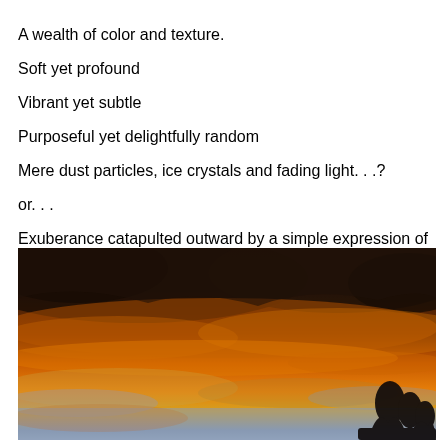A wealth of color and texture.
Soft yet profound
Vibrant yet subtle
Purposeful yet delightfully random
Mere dust particles, ice crystals and fading light. . .?
or. . .
Exuberance catapulted outward by a simple expression of love. . .?
[Figure (photo): A dramatic sunset photograph showing vivid orange and golden clouds against a dark sky, with silhouettes of trees visible at the bottom right. The sky transitions from dark purple-brown clouds at the top, through brilliant orange in the middle, to lighter blue-grey at the bottom.]